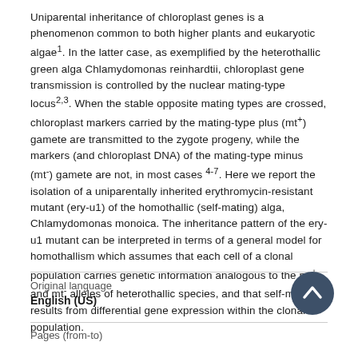Uniparental inheritance of chloroplast genes is a phenomenon common to both higher plants and eukaryotic algae¹. In the latter case, as exemplified by the heterothallic green alga Chlamydomonas reinhardtii, chloroplast gene transmission is controlled by the nuclear mating-type locus²,³. When the stable opposite mating types are crossed, chloroplast markers carried by the mating-type plus (mt⁺) gamete are transmitted to the zygote progeny, while the markers (and chloroplast DNA) of the mating-type minus (mt⁻) gamete are not, in most cases ⁴⁻⁷. Here we report the isolation of a uniparentally inherited erythromycin-resistant mutant (ery-u1) of the homothallic (self-mating) alga, Chlamydomonas monoica. The inheritance pattern of the ery-u1 mutant can be interpreted in terms of a general model for homothallism which assumes that each cell of a clonal population carries genetic information analogous to the mt⁺ and mt⁻ alleles of heterothallic species, and that self-mating results from differential gene expression within the clonal population.
Original language
English (US)
Pages (from-to)